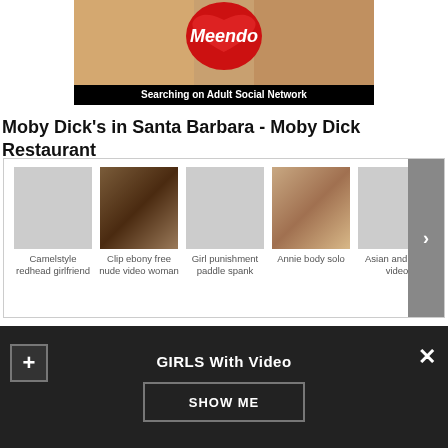[Figure (photo): Meendo adult social network advertisement banner showing adults with a red heart logo and text 'Searching on Adult Social Network']
Moby Dick's in Santa Barbara - Moby Dick Restaurant
[Figure (screenshot): Horizontal carousel of adult video thumbnails with labels: Camelstyle redhead girlfriend, Clip ebony free nude video woman, Girl punishment paddle spank, Annie body solo, Asian and porn video. Has a right arrow navigation button.]
Camelstyle redhead girlfriend
Clip ebony free nude video woman
Girl punishment paddle spank
Annie body solo
Asian and porn video
GIRLS With Video
SHOW ME